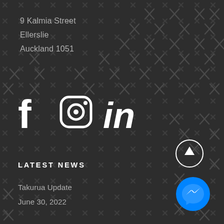9 Kalmia Street
Ellerslie
Auckland 1051
[Figure (illustration): Social media icons: Facebook (f), Instagram (camera), LinkedIn (in) in white on dark background with repeating X pattern]
LATEST NEWS
Takurua Update
June 30, 2022